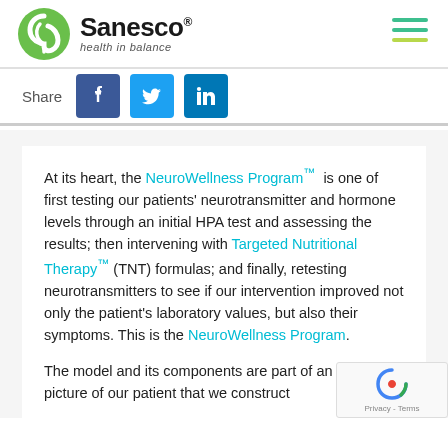[Figure (logo): Sanesco Health in Balance logo with green circular icon and hamburger menu]
Share
At its heart, the NeuroWellness Program™ is one of first testing our patients' neurotransmitter and hormone levels through an initial HPA test and assessing the results; then intervening with Targeted Nutritional Therapy™ (TNT) formulas; and finally, retesting neurotransmitters to see if our intervention improved not only the patient's laboratory values, but also their symptoms. This is the NeuroWellness Program.
The model and its components are part of an overall picture of our patient that we construct